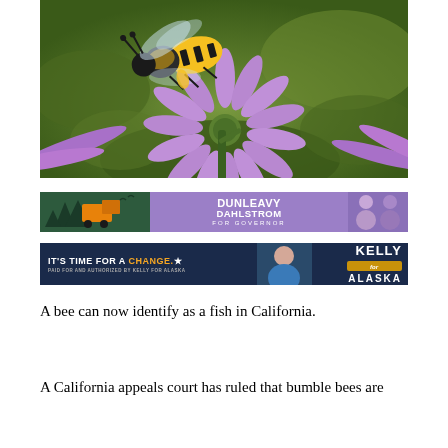[Figure (photo): Close-up photograph of a bumble bee on a purple daisy/aster flower, set against a blurred green background]
[Figure (infographic): Political campaign banner ad for Dunleavy Dahlstrom for Governor, purple background with dark green left panel showing trees and orange icon, photos of candidates on right]
[Figure (infographic): Political campaign banner ad on dark navy background: 'IT'S TIME FOR A CHANGE.' with photo of Kelly and 'KELLY for ALASKA' branding]
A bee can now identify as a fish in California.
A California appeals court has ruled that bumble bees are